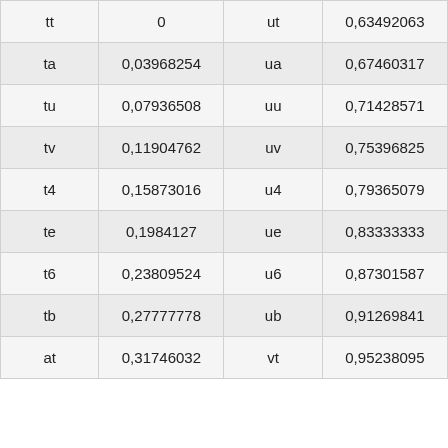| tt | 0 | ut | 0,63492063 |
| ta | 0,03968254 | ua | 0,67460317 |
| tu | 0,07936508 | uu | 0,71428571 |
| tv | 0,11904762 | uv | 0,75396825 |
| t4 | 0,15873016 | u4 | 0,79365079 |
| te | 0,1984127 | ue | 0,83333333 |
| t6 | 0,23809524 | u6 | 0,87301587 |
| tb | 0,27777778 | ub | 0,91269841 |
| at | 0,31746032 | vt | 0,95238095 |